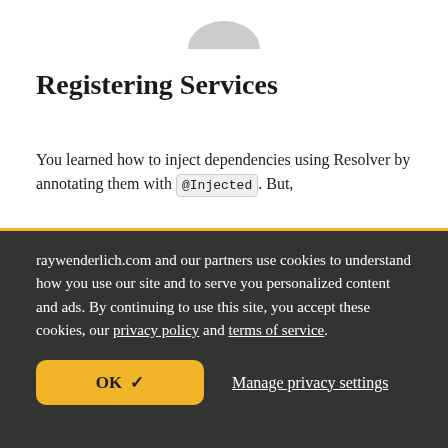[Figure (logo): raywenderlich.com logo (partial, top portion visible)]
Registering Services
You learned how to inject dependencies using Resolver by annotating them with @Injected. But,
raywenderlich.com and our partners use cookies to understand how you use our site and to serve you personalized content and ads. By continuing to use this site, you accept these cookies, our privacy policy and terms of service.
OK ✓   Manage privacy settings